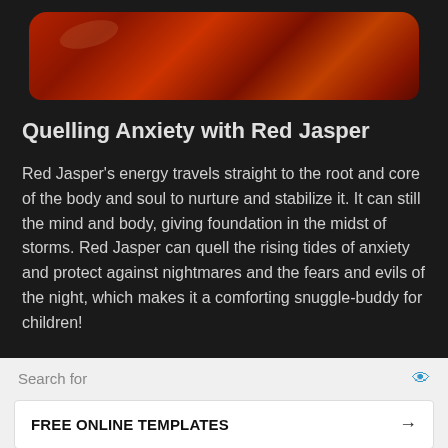[Figure (photo): Close-up photo of a red jasper stone, showing deep red and dark red tones with smooth curved surface]
Quelling Anxiety with Red Jasper
Red Jasper's energy travels straight to the root and core of the body and soul to nurture and stabilize it. It can still the mind and body, giving foundation in the midst of storms. Red Jasper can quell the rising tides of anxiety and protect against nightmares and the fears and evils of the night, which makes it a comforting snuggle-buddy for children!
Search for
FREE ONLINE TEMPLATES
FREE PROJECT PLAN TEMPLATE
Ad | Business Focus